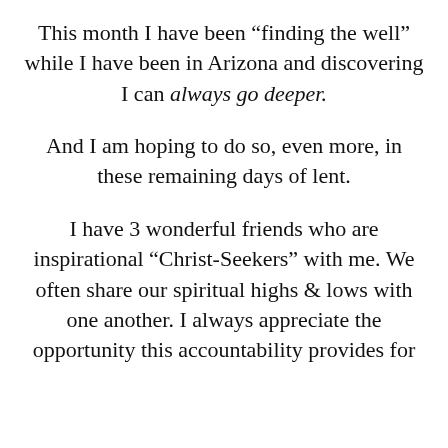This month I have been “finding the well” while I have been in Arizona and discovering I can always go deeper.
And I am hoping to do so, even more, in these remaining days of lent.
I have 3 wonderful friends who are inspirational “Christ-Seekers” with me. We often share our spiritual highs & lows with one another. I always appreciate the opportunity this accountability provides for